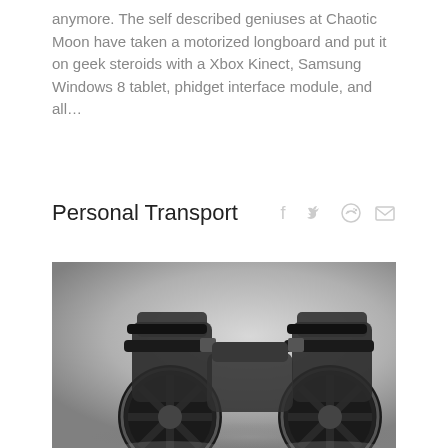anymore. The self described geniuses at Chaotic Moon have taken a motorized longboard and put it on geek steroids with a Xbox Kinect, Samsung Windows 8 tablet, phidget interface module, and all…
Personal Transport
[Figure (photo): Black and white photograph of two motorized roller skate devices with large wheels and strap bindings, viewed from the front/side angle on a reflective surface.]